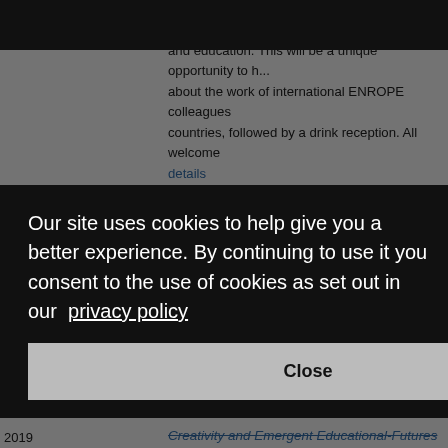postgradute students, working in the field of pluriling... and education. This will be a unique opportunity to h... about the work of international ENROPE colleagues countries, followed by a drink reception. All welcome
details
20 March 2019
Professor Debby Cotton: Widening Participatio... Retention and Student Success
Professor Debby Cotton, Head of Teaching and Lea... University of Plymouth, jointly hosted by The Educat... nity to cont...
Our site uses cookies to help give you a better experience. By continuing to use it you consent to the use of cookies as set out in our  privacy policy
Close
Creativity and Emergent Educational-Futures
2019